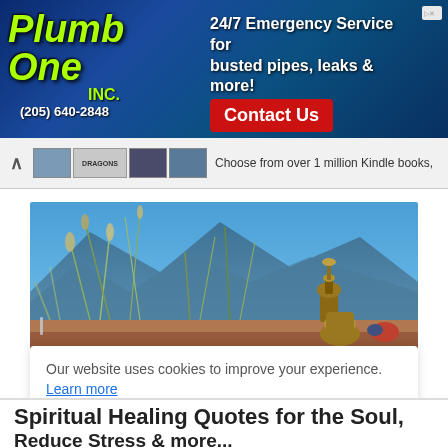[Figure (screenshot): Plumb One Inc. advertisement banner with green logo text, phone number (205) 640-2848, '24/7 Emergency Service for busted pipes, leaks & more!', red Contact Us button, and 'New Construction & Remodels' text on a blue gradient background]
[Figure (screenshot): Browser navigation bar showing back arrow, book cover thumbnails including one labeled DRAGONS, and partial text 'Choose from over 1 million Kindle books,']
[Figure (photo): Outdoor photo showing wild grasses with mountains in the background and a decorative copper/bronze ornamental object on a rustic surface in the foreground]
Our website uses cookies to improve your experience.
Learn more
Accept !
Spiritual Healing Quotes for the Soul,
Reduce Stress & more...